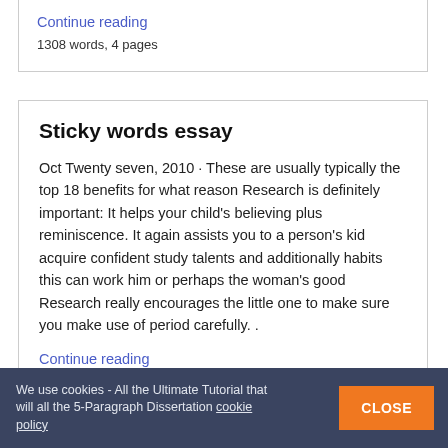Continue reading
1308 words, 4 pages
Sticky words essay
Oct Twenty seven, 2010 · These are usually typically the top 18 benefits for what reason Research is definitely important: It helps your child's believing plus reminiscence. It again assists you to a person's kid acquire confident study talents and additionally habits this can work him or perhaps the woman's good Research really encourages the little one to make sure you make use of period carefully. .
Continue reading
677 words, 7 pages
We use cookies - All the Ultimate Tutorial that will all the 5-Paragraph Dissertation cookie policy
CLOSE